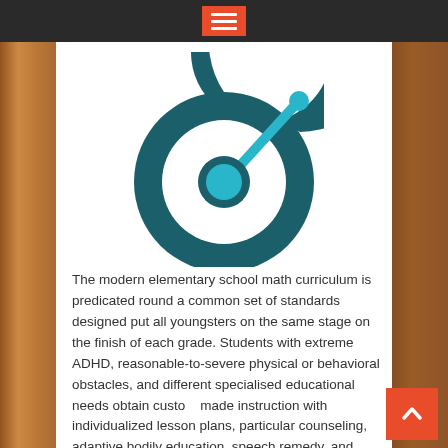[Figure (logo): Circular speedometer/gauge logo with dark teal ring and light blue needle/pin element pointing upper right, white background]
The modern elementary school math curriculum is predicated round a common set of standards designed put all youngsters on the same stage on the finish of each grade. Students with extreme ADHD, reasonable-to-severe physical or behavioral obstacles, and different specialised educational needs obtain custom made instruction with individualized lesson plans, particular counseling, adaptive bodily education, speech remedy, and other supportive services to ensure that